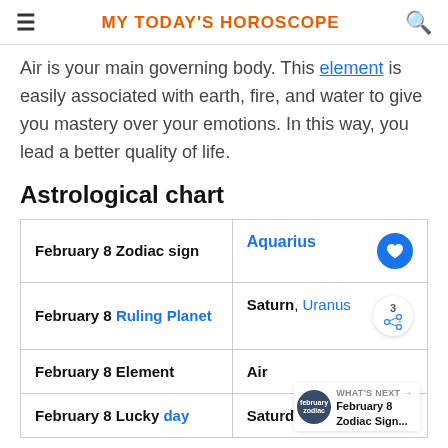MY TODAY'S HOROSCOPE
Air is your main governing body. This element is easily associated with earth, fire, and water to give you mastery over your emotions. In this way, you lead a better quality of life.
Astrological chart
|  |  |
| --- | --- |
| February 8 Zodiac sign | Aquarius |
| February 8 Ruling Planet | Saturn, Uranus |
| February 8 Element | Air |
| February 8 Lucky day | Saturday |